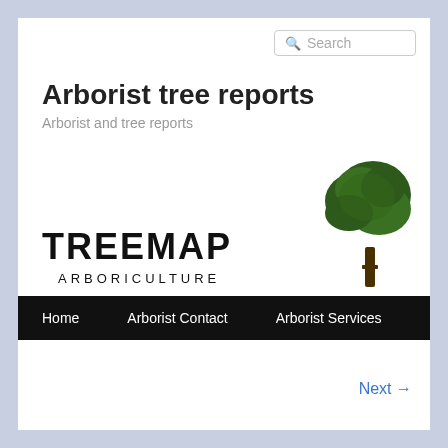Search
Arborist tree reports
Arborist and tree reports
[Figure (logo): Treemap Arboriculture logo with large tree silhouette in dark green and bold text reading TREEMAP ARBORICULTURE]
Home   Arborist Contact   Arborist Services
Next →